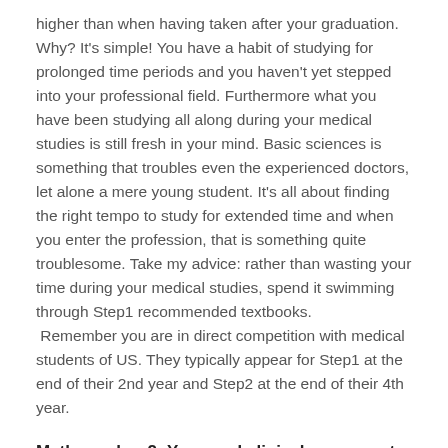higher than when having taken after your graduation. Why? It's simple! You have a habit of studying for prolonged time periods and you haven't yet stepped into your professional field. Furthermore what you have been studying all along during your medical studies is still fresh in your mind. Basic sciences is something that troubles even the experienced doctors, let alone a mere young student. It's all about finding the right tempo to study for extended time and when you enter the profession, that is something quite troublesome. Take my advice: rather than wasting your time during your medical studies, spend it swimming through Step1 recommended textbooks.
 Remember you are in direct competition with medical students of US. They typically appear for Step1 at the end of their 2nd year and Step2 at the end of their 4th year.
Myth number 2: You need clinical exposure to fully understand Step1's clinical vignettes
Verdict: Not necessarily!